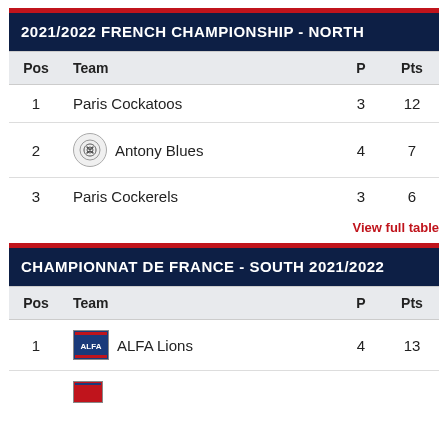| Pos | Team | P | Pts |
| --- | --- | --- | --- |
| 1 | Paris Cockatoos | 3 | 12 |
| 2 | Antony Blues | 4 | 7 |
| 3 | Paris Cockerels | 3 | 6 |
View full table
| Pos | Team | P | Pts |
| --- | --- | --- | --- |
| 1 | ALFA Lions | 4 | 13 |